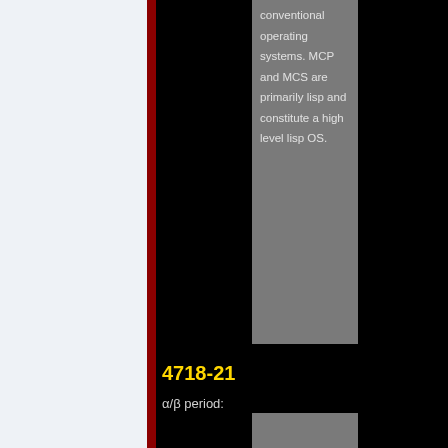conventional operating systems. MCP and MCS are primarily lisp and constitute a high level lisp OS.
4718-21
α/β period: